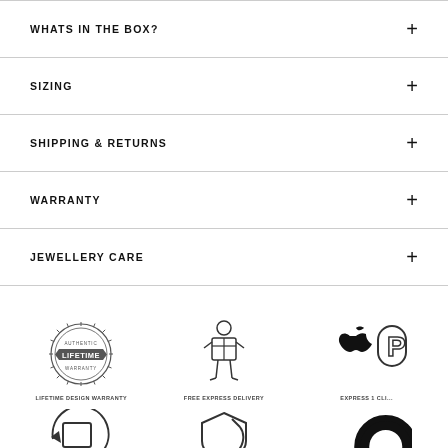WHATS IN THE BOX?
SIZING
SHIPPING & RETURNS
WARRANTY
JEWELLERY CARE
[Figure (infographic): Three icons row: Lifetime Design Warranty badge, Free Express Delivery courier figure, Express Click payment icons (Apple Pay, PayPal). Second row: Return/exchange icon, Shield security icon, and a partially visible circular icon.]
LIFETIME DESIGN WARRANTY
FREE EXPRESS DELIVERY
EXPRESS 1 CLI...